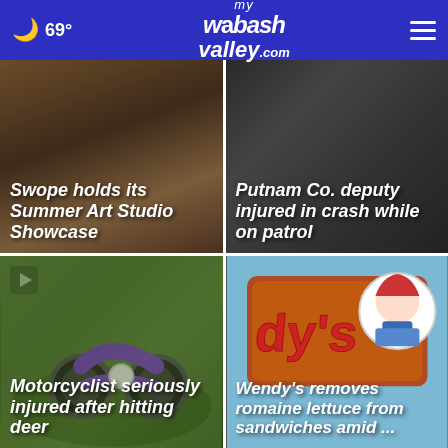69° mywabashvalley.com
[Figure (photo): Art studio showcase background image with dark brown tones]
Swope holds its Summer Art Studio Showcase
[Figure (photo): Dark background image related to police/patrol vehicle crash]
Putnam Co. deputy injured in crash while on patrol
[Figure (photo): Purple motorcycle lying on grass after accident]
Motorcyclist seriously injured after hitting deer
[Figure (photo): Wendy's restaurant sign with the Wendy's logo girl mascot against blue sky]
Wendy's removes romaine lettuce from sandwiches amid ...